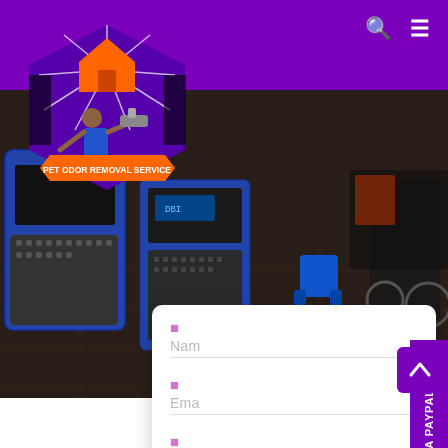Navigation bar with search and menu icons
[Figure (logo): Pet Odor Removal Service logo badge - hexagonal shape with orange/purple colors, man with equipment, orange banner reading PET ODOR REMOVAL SERVICE]
[Figure (photo): Background photo of equipment room with industrial dehumidifiers/air scrubbers, wheelchair, tile floor]
PAY VIA PAYPAL
Nam
Ema
Pho